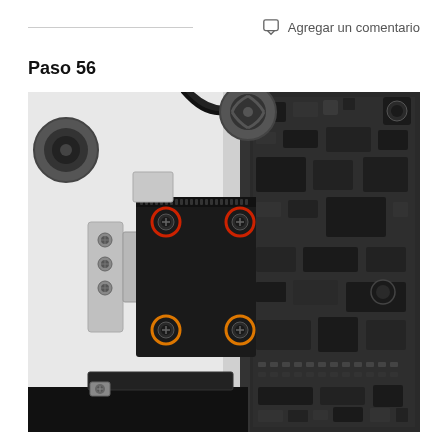Agregar un comentario
Paso 56
[Figure (photo): Close-up photo of a Mac computer internal component showing a hard drive or SSD bracket with four screws highlighted: two with red circles (top-left and top-right) and two with orange circles (bottom-left and bottom-right). The logic board with components is visible on the right side, and the white chassis is visible on the left.]